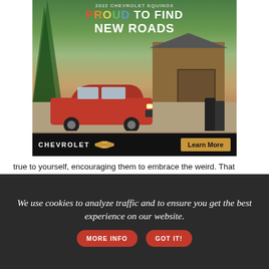[Figure (illustration): Chevrolet Equinox 2022 advertisement. Red SUV parked in front of a stone and wood cabin with trees. Text reads '2022 CHEVROLET EQUINOX', 'PROUD TO FIND NEW ROADS' with colorful lettering. Bottom bar shows CHEVROLET logo with bowtie emblem and a gold 'Learn More' button.]
true to yourself, encouraging them to embrace the weird. That weird could be seedling and those are the things that set us apart. Find your identity in the midst of a world that will try to pull you in a lot of different directions."
He believes in both hard work and play, but Wojtal's secret is
We use cookies to analyze traffic and to ensure you get the best experience on our website.
MORE INFO
GOT IT!